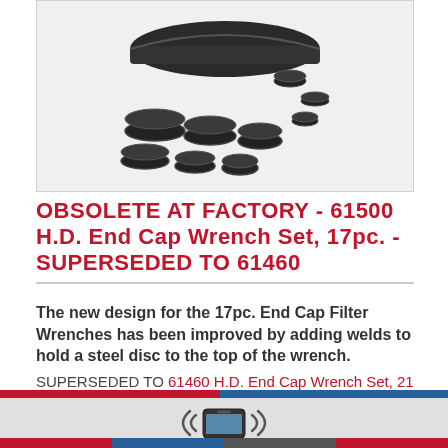[Figure (photo): Product photo of 61500 H.D. End Cap Wrench Set showing multiple cup-style oil filter wrenches in various sizes arranged with a carrying case]
OBSOLETE AT FACTORY - 61500 H.D. End Cap Wrench Set, 17pc. - SUPERSEDED TO 61460
The new design for the 17pc. End Cap Filter Wrenches has been improved by adding welds to hold a steel disc to the top of the wrench. SUPERSEDED TO 61460 H.D. End Cap Wrench Set, 21 pc.
[Figure (illustration): Mobile phone / smartphone icon with wireless signal waves on both sides]